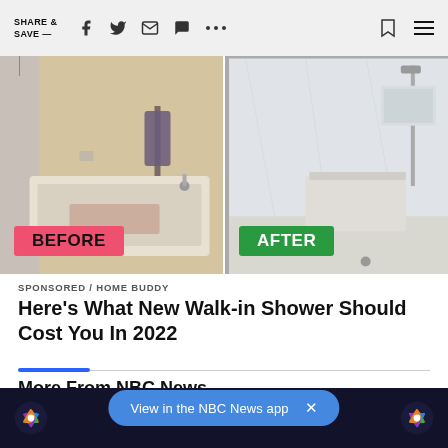SHARE & SAVE —
[Figure (photo): Before and after comparison of a bathroom renovation. Left side shows an old bathtub with shower curtain labeled BEFORE in a pink/red badge. Right side shows a modern marble walk-in shower labeled AFTER in a green badge.]
SPONSORED / HOME BUDDY
Here's What New Walk-in Shower Should Cost You In 2022
More From NBC News
[Figure (screenshot): View in the NBC News app banner with close button, shown over a dark NBC News panel with peacock logos on each side.]